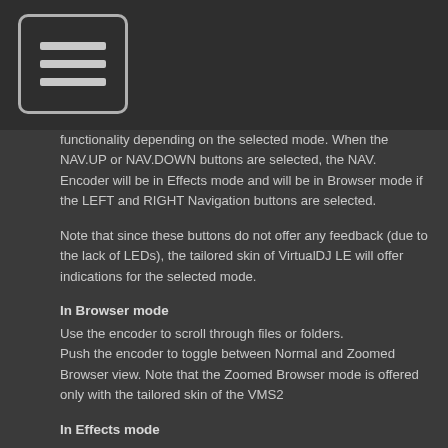[Figure (illustration): Menu/hamburger icon: a rounded rectangle button with three horizontal bars, on a dark background header bar]
functionality depending on the selected mode. When the NAV.UP or NAV.DOWN buttons are selected, the NAV. Encoder will be in Effects mode and will be in Browser mode if the LEFT and RIGHT Navigation buttons are selected.
Note that since these buttons do not offer any feedback (due to the lack of LEDs), the tailored skin of VirtualDJ LE will offer indications for the selected mode.
In Browser mode
Use the encoder to scroll through files or folders.
Push the encoder to toggle between Normal and Zoomed Browser view. Note that the Zoomed Browser mode is offered only with the tailored skin of the VMS2
In Effects mode
Use the encoder to select an Effect for the left or right deck.
Push the Encoder to enable the selected Effect for the left or right deck.
While the Effect is enabled, use the Encoder to adjust the 1st Parameter of the selected Effect. Hold SHIFT down and